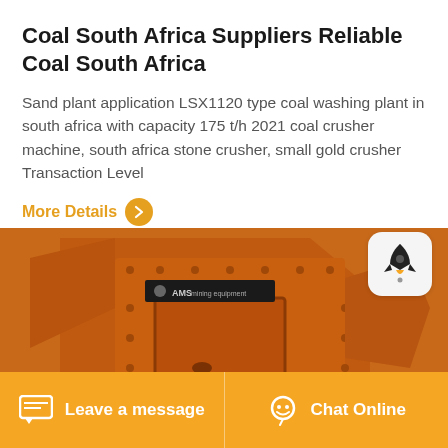Coal South Africa Suppliers Reliable Coal South Africa
Sand plant application LSX1120 type coal washing plant in south africa with capacity 175 t/h 2021 coal crusher machine, south africa stone crusher, small gold crusher Transaction Level
More Details
[Figure (photo): Orange/rust-colored industrial coal crusher machine with AMS branding label visible]
Leave a message   Chat Online